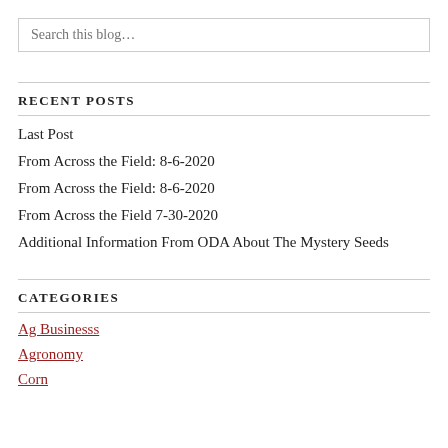Search this blog…
RECENT POSTS
Last Post
From Across the Field: 8-6-2020
From Across the Field: 8-6-2020
From Across the Field 7-30-2020
Additional Information From ODA About The Mystery Seeds
CATEGORIES
Ag Businesss
Agronomy
Corn